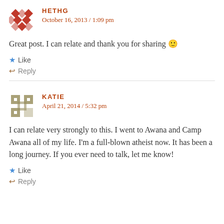HETHG — October 16, 2013 / 1:09 pm
Great post. I can relate and thank you for sharing 🙂
★ Like
↩ Reply
KATIE — April 21, 2014 / 5:32 pm
I can relate very strongly to this. I went to Awana and Camp Awana all of my life. I'm a full-blown atheist now. It has been a long journey. If you ever need to talk, let me know!
★ Like
↩ Reply